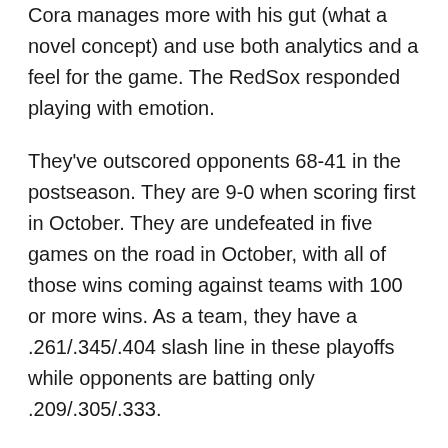Cora manages more with his gut (what a novel concept) and use both analytics and a feel for the game. The RedSox responded playing with emotion.
They've outscored opponents 68-41 in the postseason. They are 9-0 when scoring first in October. They are undefeated in five games on the road in October, with all of those wins coming against teams with 100 or more wins. As a team, they have a .261/.345/.404 slash line in these playoffs while opponents are batting only .209/.305/.333.
Throughout the entire postseason they have scored 36 of their 68 total runs with two outs on the board. That's clutch hitting dear reader and there doesn't seem to be any reason to believe this will stop iin Los Angeles as the series shifts to Dodger Stadium. Maybe the Dodgers will win one game but this series belongs to